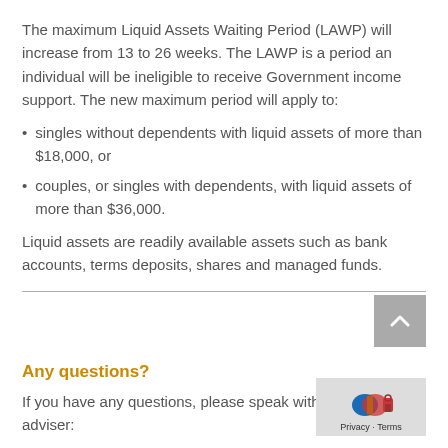The maximum Liquid Assets Waiting Period (LAWP) will increase from 13 to 26 weeks. The LAWP is a period an individual will be ineligible to receive Government income support. The new maximum period will apply to:
singles without dependents with liquid assets of more than $18,000, or
couples, or singles with dependents, with liquid assets of more than $36,000.
Liquid assets are readily available assets such as bank accounts, terms deposits, shares and managed funds.
Any questions?
If you have any questions, please speak with your financial adviser: